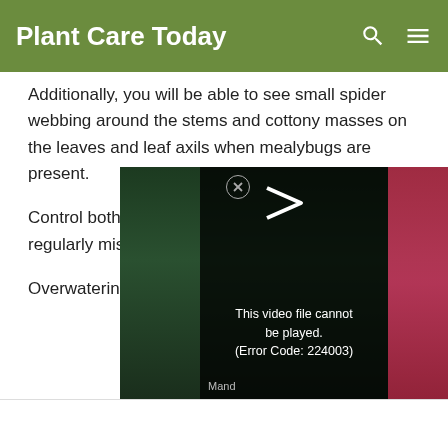Plant Care Today
Additionally, you will be able to see small spider webbing around the stems and cottony masses on the leaves and leaf axils when mealybugs are present.
Control both pests with Neem oil sprays or by regularly misting the plants.
[Figure (screenshot): Embedded video player showing an error message: 'This video file cannot be played. (Error Code: 224003)' with a play icon and close button. Background shows a photo of pink flowers and green leaves. Label 'Mand' is visible at bottom left.]
Overwatering and eventually...